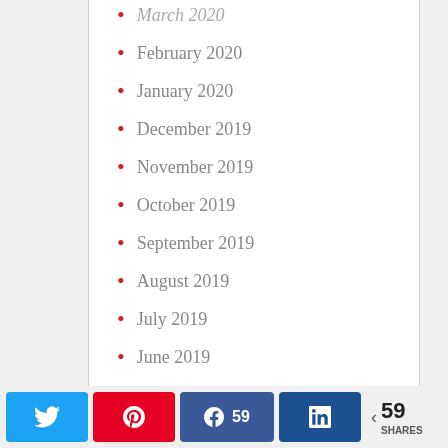March 2020
February 2020
January 2020
December 2019
November 2019
October 2019
September 2019
August 2019
July 2019
June 2019
May 2019
April 2019
59 SHARES — Twitter, Pinterest, Facebook (59), LinkedIn share buttons